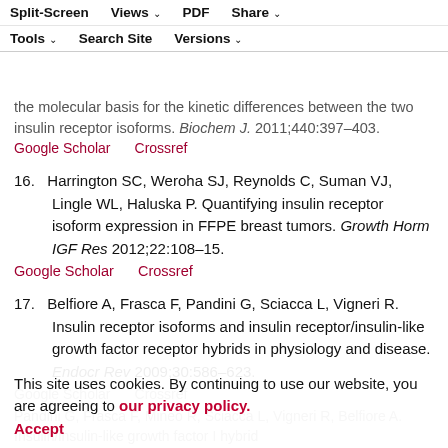Split-Screen | Views | PDF | Share | Tools | Search Site | Versions
the molecular basis for the kinetic differences between the two insulin receptor isoforms. Biochem J. 2011;440:397–403.
Google Scholar   Crossref
16.  Harrington SC, Weroha SJ, Reynolds C, Suman VJ, Lingle WL, Haluska P. Quantifying insulin receptor isoform expression in FFPE breast tumors. Growth Horm IGF Res 2012;22:108–15.
Google Scholar   Crossref
17.  Belfiore A, Frasca F, Pandini G, Sciacca L, Vigneri R. Insulin receptor isoforms and insulin receptor/insulin-like growth factor receptor hybrids in physiology and disease. Endocr Rev 2009;30:586–623.
Google Scholar   Crossref
This site uses cookies. By continuing to use our website, you are agreeing to our privacy policy. Accept
Pandini G, Frasca F, Mineo R, Sciacca L, Vigneri R, Belfiore A. Insulin/insulin-like growth factor I hybrid